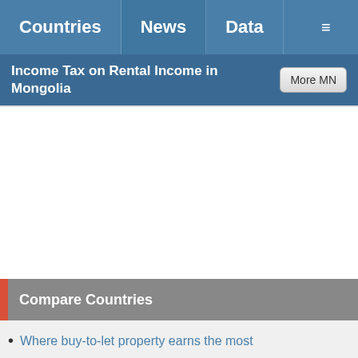Countries | News | Data | ≡
Income Tax on Rental Income in Mongolia
Compare Countries
Where buy-to-let property earns the most